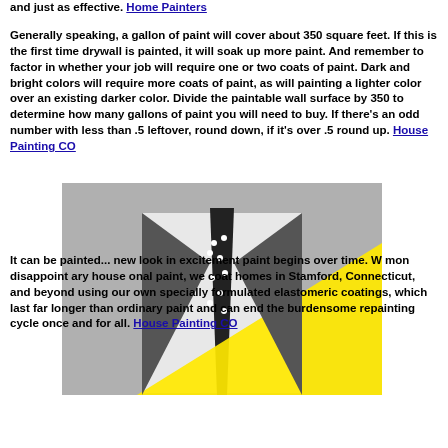and just as effective. Home Painters
Generally speaking, a gallon of paint will cover about 350 square feet. If this is the first time drywall is painted, it will soak up more paint. And remember to factor in whether your job will require one or two coats of paint. Dark and bright colors will require more coats of paint, as will painting a lighter color over an existing darker color. Divide the paintable wall surface by 350 to determine how many gallons of paint you will need to buy. If there's an odd number with less than .5 leftover, round down, if it's over .5 round up. House Painting CO
[Figure (photo): Black and white photo of a man in a suit with polka dot tie and pocket square, overlaid with a large yellow triangle shape and a close-up dialog box]
It can be painted... we coat homes in Stamford, Connecticut, and beyond using our own specially formulated elastomeric coatings, which last far longer than ordinary paint and can end the burdensome repainting cycle once and for all. House Painting CO